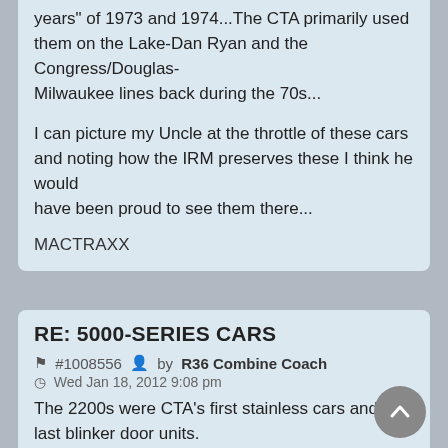years" of 1973 and 1974...The CTA primarily used them on the Lake-Dan Ryan and the Congress/Douglas-Milwaukee lines back during the 70s...

I can picture my Uncle at the throttle of these cars and noting how the IRM preserves these I think he would have been proud to see them there...

MACTRAXX
RE: 5000-SERIES CARS
#1008556 by R36 Combine Coach
Wed Jan 18, 2012 9:08 pm
The 2200s were CTA's first stainless cars and also last blinker door units.